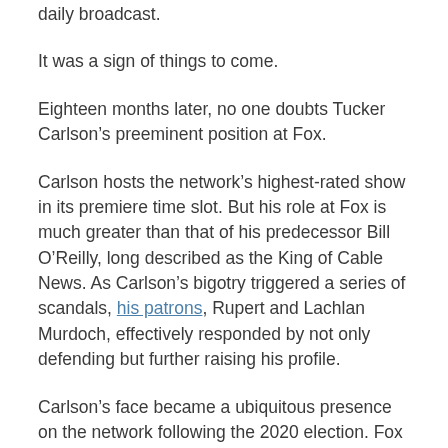daily broadcast.
It was a sign of things to come.
Eighteen months later, no one doubts Tucker Carlson’s preeminent position at Fox.
Carlson hosts the network’s highest-rated show in its premiere time slot. But his role at Fox is much greater than that of his predecessor Bill O’Reilly, long described as the King of Cable News. As Carlson’s bigotry triggered a series of scandals, his patrons, Rupert and Lachlan Murdoch, effectively responded by not only defending but further raising his profile.
Carlson’s face became a ubiquitous presence on the network following the 2020 election. Fox began frequently injecting Carlson’s commentary into programs up and down the network lineup; since November, the network has